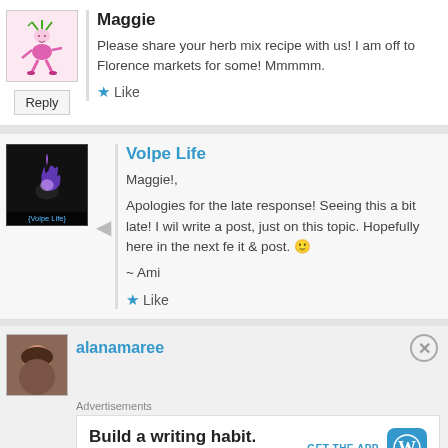Maggie
Please share your herb mix recipe with us! I am off to Florence markets for some! Mmmmm.
Like
Reply
Volpe Life
Maggie!,

Apologies for the late response! Seeing this a bit late! I wi... write a post, just on this topic. Hopefully here in the next fe... it & post. 🙂

~ Ami
Like
alanamaree
Advertisements
Build a writing habit.
Post on the go.
GET THE APP
REPORT THIS AD